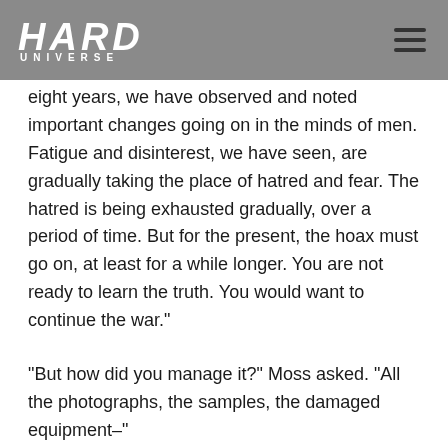HARD UNIVERSE
eight years, we have observed and noted important changes going on in the minds of men. Fatigue and disinterest, we have seen, are gradually taking the place of hatred and fear. The hatred is being exhausted gradually, over a period of time. But for the present, the hoax must go on, at least for a while longer. You are not ready to learn the truth. You would want to continue the war."
"But how did you manage it?" Moss asked. "All the photographs, the samples, the damaged equipment–"
"Come over here." The leady directed them toward a long, low building. "Work goes on constantly, whole staffs laboring to maintain a coherent and convincing